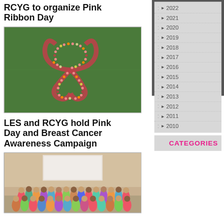RCYG to organize Pink Ribbon Day
[Figure (photo): Aerial view of people forming a pink ribbon shape on a green field]
LES and RCYG hold Pink Day and Breast Cancer Awareness Campaign
[Figure (photo): Group photo of women at a Pink Day and Breast Cancer Awareness Campaign event]
►2022
►2021
►2020
►2019
►2018
►2017
►2016
►2015
►2014
►2013
►2012
►2011
►2010
CATEGORIES